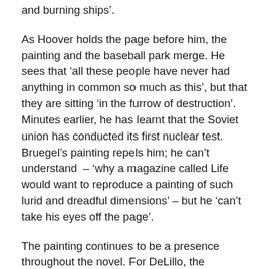and burning ships'.
As Hoover holds the page before him, the painting and the baseball park merge. He sees that ‘all these people have never had anything in common so much as this’, but that they are sitting ‘in the furrow of destruction’. Minutes earlier, he has learnt that the Soviet union has conducted its first nuclear test. Bruegel’s painting repels him; he can’t understand – ‘why a magazine called Life would want to reproduce a painting of such lurid and dreadful dimensions’ – but he ‘can’t take his eyes off the page’.
The painting continues to be a presence throughout the novel. For DeLillo, the baseball game represents a moment when millions of Americans are connected by ‘the pulsing voice on radio, joined to the word-of-mouth that passes the score along the street’ in counterpoint to living